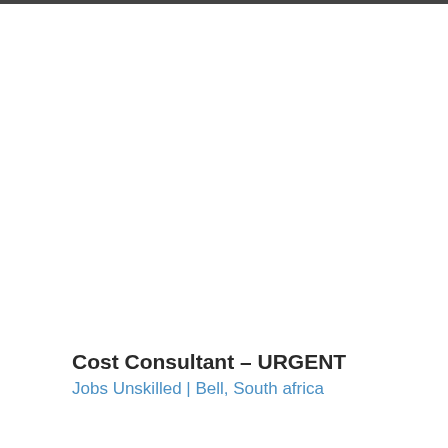Cost Consultant – URGENT
Jobs Unskilled | Bell, South africa